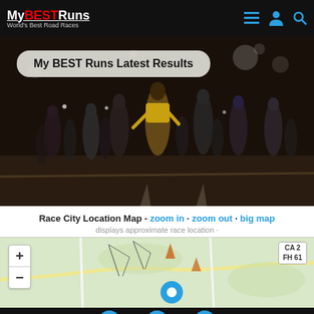My BEST Runs - World's Best Road Races
[Figure (photo): Night road race with a large crowd of runners on a dark street; white overlaid rounded rectangle with bold text 'My BEST Runs Latest Results']
Race City Location Map - zoom in · zoom out · big map
displays approximate race location ·
[Figure (map): Street/terrain map showing an approximate race location with a blue location pin marker, zoom in (+) and zoom out (-) controls on the left, and a highway sign showing CA 2 / FH 61 in the upper right]
Navigation: back | home | forward